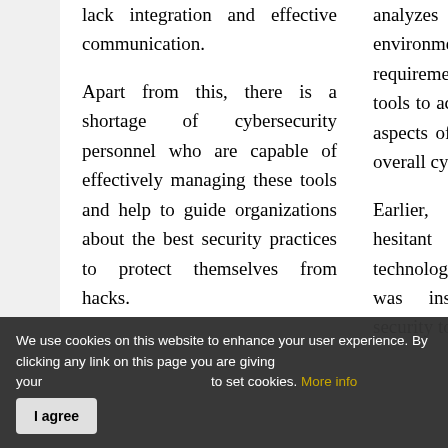lack integration and effective communication. Apart from this, there is a shortage of cybersecurity personnel who are capable of effectively managing these tools and help to guide organizations about the best security practices to protect themselves from hacks.
analyzes the clients' environment, understands their requirement, and then tailors the tools to accommodate the unique aspects of their business into an overall cybersecurity program. Earlier, organizations were hesitant to shift to cloud technology, as they thought it was insecure, and adding security tools
We use cookies on this website to enhance your user experience. By clicking any link on this page you are giving your consent for us to set cookies. More info